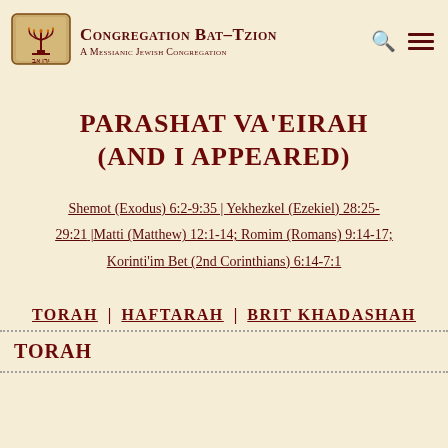Congregation Bat-Tzion A Messianic Jewish Congregation
PARASHAT VA'EIRAH (AND I APPEARED)
Shemot (Exodus) 6:2-9:35 | Yekhezkel (Ezekiel) 28:25-29:21 | Matti (Matthew) 12:1-14; Romim (Romans) 9:14-17; Korinti'im Bet (2nd Corinthians) 6:14-7:1
TORAH | HAFTARAH | BRIT KHADASHAH
TORAH